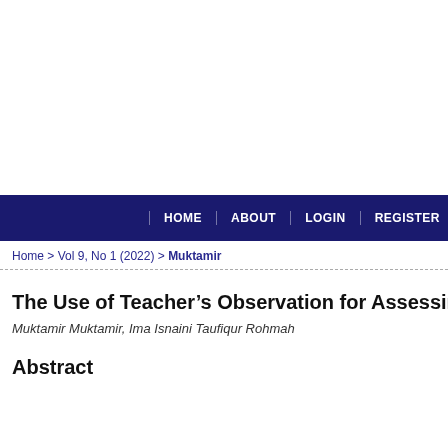HOME | ABOUT | LOGIN | REGISTER
Home > Vol 9, No 1 (2022) > Muktamir
The Use of Teacher's Observation for Assessing Students' English
Muktamir Muktamir, Ima Isnaini Taufiqur Rohmah
Abstract